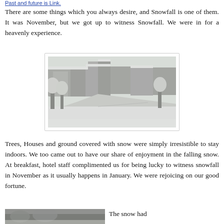Past and future is Link.
There are some things which you always desire, and Snowfall is one of them. It was November, but we got up to witness Snowfall. We were in for a heavenly experience.
[Figure (photo): Aerial view of snow-covered buildings, roads, and trees in a town during snowfall. The scene is entirely white with snow blanketing rooftops and vegetation.]
Trees, Houses and ground covered with snow were simply irresistible to stay indoors. We too came out to have our share of enjoyment in the falling snow. At breakfast, hotel staff complimented us for being lucky to witness snowfall in November as it usually happens in January. We were rejoicing on our good fortune.
[Figure (photo): Another snow scene photograph, partially visible at the bottom of the page.]
The snow had